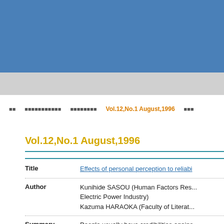Vol.12,No.1 August,1996
Vol.12,No.1 August,1996
Title: Effects of personal perception to reliabi...
Author: Kunihide SASOU (Human Factors Res... Electric Power Industry) Kazuma HARAOKA (Faculty of Literat...
Summary: People usually have credibilities agains... credibility has 2 aspects; expertness ar... perception such as how a listener reco...